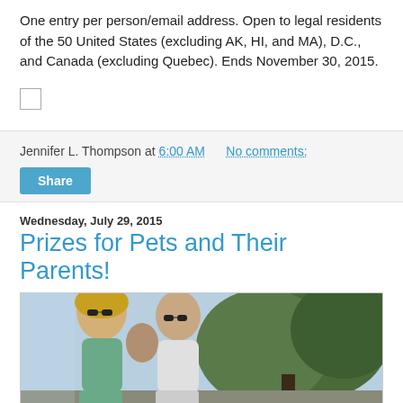One entry per person/email address. Open to legal residents of the 50 United States (excluding AK, HI, and MA), D.C., and Canada (excluding Quebec). Ends November 30, 2015.
[Figure (other): Checkbox UI element (unchecked)]
Jennifer L. Thompson at 6:00 AM   No comments:
Share
Wednesday, July 29, 2015
Prizes for Pets and Their Parents!
[Figure (photo): Outdoor photo of two people (a woman with sunglasses and blonde hair on the left, a bald man with sunglasses in the center) standing in front of green trees under a blue sky.]